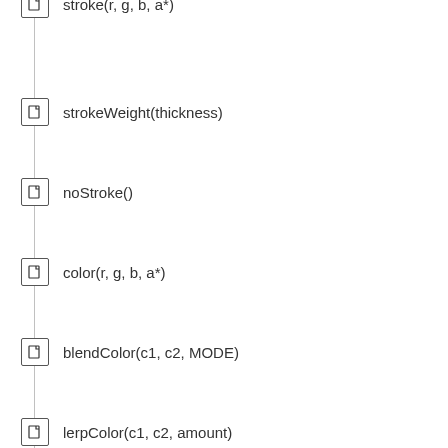stroke(r, g, b, a*)
strokeWeight(thickness)
noStroke()
color(r, g, b, a*)
blendColor(c1, c2, MODE)
lerpColor(c1, c2, amount)
colorMode(MODE)
red(color)
green(color)